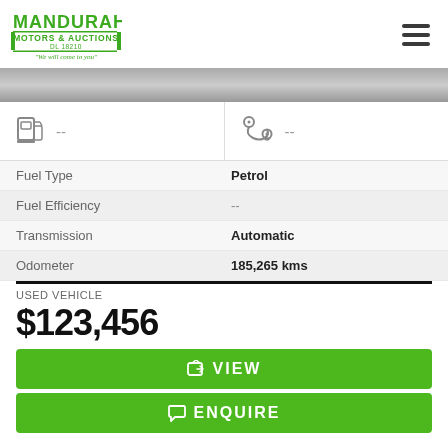Mandurah Motors & Auctions - DL 18210 - We will come to you
[Figure (photo): Partial view of a vehicle, grey background]
| Fuel Type | Petrol |
| Fuel Efficiency | -- |
| Transmission | Automatic |
| Odometer | 185,265 kms |
USED VEHICLE
$123,456
VIEW
ENQUIRE